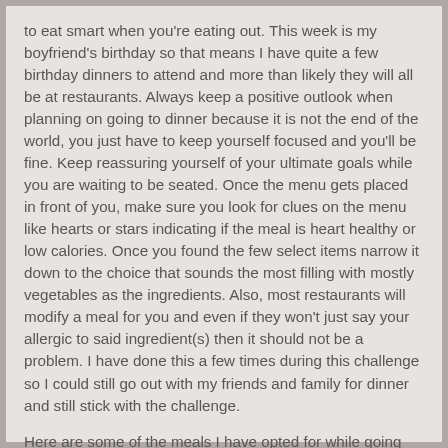to eat smart when you're eating out. This week is my boyfriend's birthday so that means I have quite a few birthday dinners to attend and more than likely they will all be at restaurants. Always keep a positive outlook when planning on going to dinner because it is not the end of the world, you just have to keep yourself focused and you'll be fine. Keep reassuring yourself of your ultimate goals while you are waiting to be seated. Once the menu gets placed in front of you, make sure you look for clues on the menu like hearts or stars indicating if the meal is heart healthy or low calories. Once you found the few select items narrow it down to the choice that sounds the most filling with mostly vegetables as the ingredients. Also, most restaurants will modify a meal for you and even if they won't just say your allergic to said ingredient(s) then it should not be a problem. I have done this a few times during this challenge so I could still go out with my friends and family for dinner and still stick with the challenge.
Here are some of the meals I have opted for while going out to restaurants during this challenge.
Taco Bus: